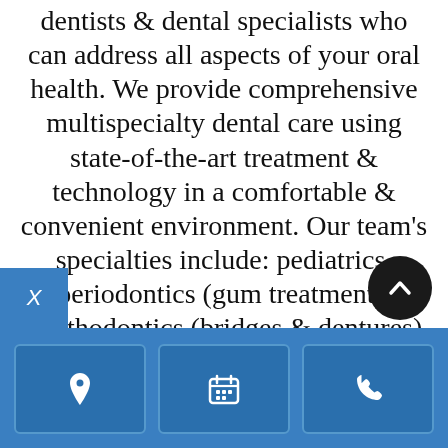Family Dental is a collaboration of general dentists & dental specialists who can address all aspects of your oral health. We provide comprehensive multispecialty dental care using state-of-the-art treatment & technology in a comfortable & convenient environment. Our team's specialties include: pediatrics, periodontics (gum treatment), prosthodontics (bridges & dentures), orthodontics (braces), endodontics (root canals), oral surgery &
[Figure (infographic): Three icon buttons on a blue bar: location pin icon, calendar icon, phone icon. A dark circular up-arrow button overlaps the bar on the right. An 'X' badge is on the left edge.]